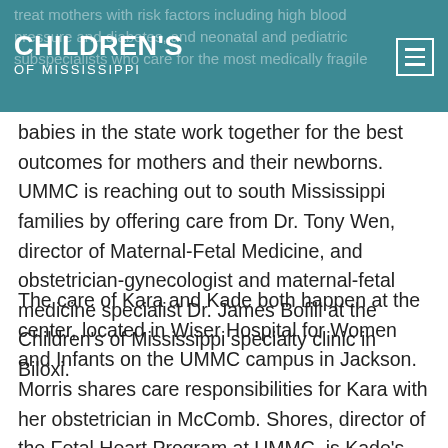CHILDREN'S OF MISSISSIPPI
treat mothers with risk factors including high blood pressure and diabetes, and neonatal and pediatric subspecialists who care for the most medically fragile babies in the state work together for the best outcomes for mothers and their newborns. UMMC is reaching out to south Mississippi families by offering care from Dr. Tony Wen, director of Maternal-Fetal Medicine, and obstetrician-gynecologist and maternal-fetal medicine specialist Dr. James Bofill at the Children's of Mississippi specialty clinic in Biloxi.
The care of Kara and Kade both happen at the center, located in Wiser Hospital for Women and Infants on the UMMC campus in Jackson. Morris shares care responsibilities for Kara with her obstetrician in McComb. Shores, director of the Fetal Heart Program at UMMC, is Kade's fetal cardiologist.